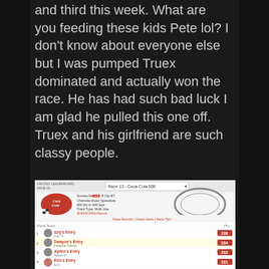and third this week.  What are you feeding these kids Pete lol?  I don't know about everyone else but I was pumped Truex dominated and actually won the race.  He has had such bad luck I am glad he pulled this one off.  Truex and his girlfriend are such classy people.
[Figure (screenshot): Screenshot of a NASCAR Fantasy Leaderboard for Race 13 - Coca-Cola 600 at Charlotte Motor Speedway. Shows a leaderboard with entries: 1. Izzy's Entry (Izzy G) - 288pts, 2. Dwayne's Entry (Dwayne Falcon) - 284pts (highlighted), 3. Ayden's Entry (Ayden D) - 282pts, 4. Erin's Entry (Erin) - 261pts, and more entries below.]